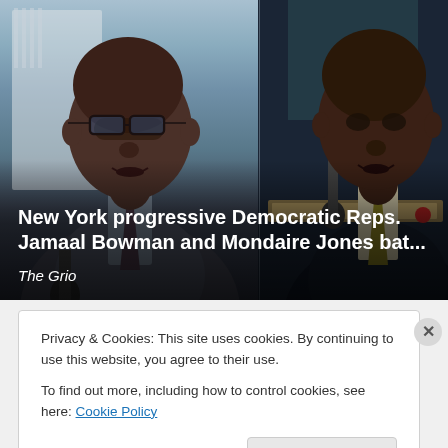[Figure (photo): Side-by-side photos of two Black men in suits. Left: a man with glasses wearing a grey suit and blue shirt outdoors with a government building (Capitol) in the background. Right: a man in a dark navy suit with a gold/olive tie, seated at what appears to be a congressional hearing desk with a microphone in front, nameplate visible.]
New York progressive Democratic Reps. Jamaal Bowman and Mondaire Jones bat...
The Grio
Privacy & Cookies: This site uses cookies. By continuing to use this website, you agree to their use.
To find out more, including how to control cookies, see here: Cookie Policy